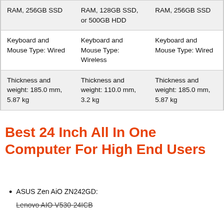| Col1 | Col2 | Col3 |
| --- | --- | --- |
| RAM, 256GB SSD | RAM, 128GB SSD, or 500GB HDD | RAM, 256GB SSD |
| Keyboard and Mouse Type: Wired | Keyboard and Mouse Type: Wireless | Keyboard and Mouse Type: Wired |
| Thickness and weight: 185.0 mm, 5.87 kg | Thickness and weight: 110.0 mm, 3.2 kg | Thickness and weight: 185.0 mm, 5.87 kg |
Best 24 Inch All In One Computer For High End Users
ASUS Zen AiO ZN242GD:
Lenovo AIO V530-24ICB
[Figure (photo): Advertisement banner showing an airplane being loaded with cargo, with text 'WITHOUT REGARD TO POLITICS, RELIGION, OR ABILITY TO PAY' on the right side.]